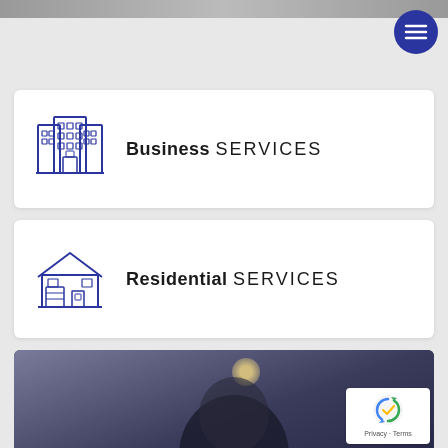[Figure (illustration): Dark top bar / partial image strip at the very top of the page]
[Figure (illustration): Dark blue circular hamburger menu button in upper right]
[Figure (illustration): White card with blue building/office icon and text 'Business SERVICES']
[Figure (illustration): White card with blue house icon and text 'Residential SERVICES']
[Figure (photo): Dark atmospheric photo of a person with a reCAPTCHA badge overlay in the lower right corner]